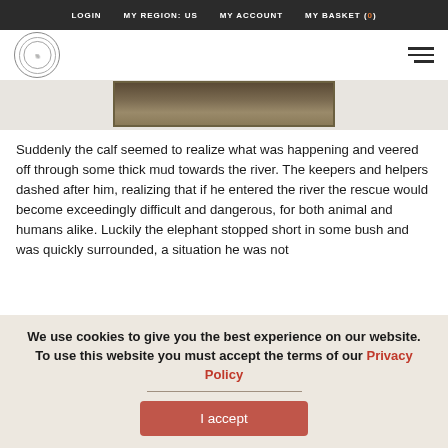LOGIN   MY REGION: US   MY ACCOUNT   MY BASKET (0)
[Figure (logo): Circular logo with animal illustration and text around the border]
[Figure (photo): Partial photo of what appears to be an elephant or animal in outdoor/muddy setting, shown inside a dark framed border]
Suddenly the calf seemed to realize what was happening and veered off through some thick mud towards the river. The keepers and helpers dashed after him, realizing that if he entered the river the rescue would become exceedingly difficult and dangerous, for both animal and humans alike. Luckily the elephant stopped short in some bush and was quickly surrounded, a situation he was not
We use cookies to give you the best experience on our website. To use this website you must accept the terms of our Privacy Policy
I accept